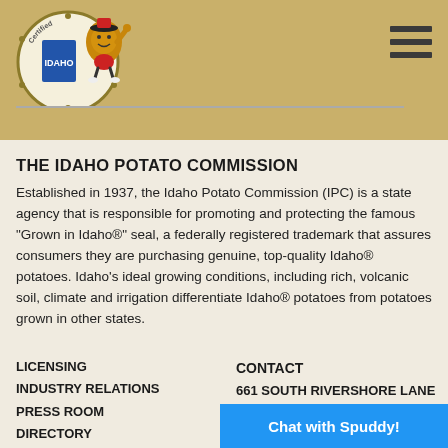[Figure (logo): Idaho Potato Commission logo with certified seal and Spuddy the potato mascot character]
THE IDAHO POTATO COMMISSION
Established in 1937, the Idaho Potato Commission (IPC) is a state agency that is responsible for promoting and protecting the famous "Grown in Idaho®" seal, a federally registered trademark that assures consumers they are purchasing genuine, top-quality Idaho® potatoes. Idaho's ideal growing conditions, including rich, volcanic soil, climate and irrigation differentiate Idaho® potatoes from potatoes grown in other states.
LICENSING
INDUSTRY RELATIONS
PRESS ROOM
DIRECTORY
TERMS & CONDITIONS
PRIVACY POLICY
CONTACT
661 SOUTH RIVERSHORE LANE SUITE 230 EAGLE, ID 83616
Chat with Spuddy!